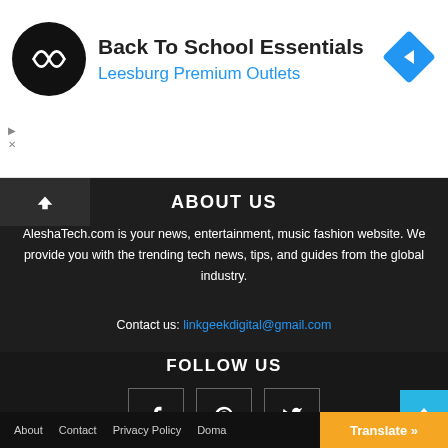[Figure (screenshot): Advertisement banner: Back To School Essentials at Leesburg Premium Outlets with logo and arrow icon]
ABOUT US
AleshaTech.com is your news, entertainment, music fashion website. We provide you with the trending tech news, tips, and guides from the global industry.
Contact us: linkgeekdigital@gmail.com
FOLLOW US
[Figure (other): Social media icon buttons: Facebook, Pinterest, Twitter]
About   Contact   Privacy Policy   Doma...
Translate »